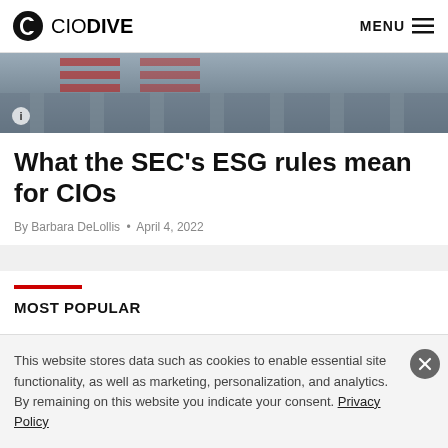CIO DIVE — MENU
[Figure (photo): Top portion of a building with American flags visible, gray/blue tones]
What the SEC's ESG rules mean for CIOs
By Barbara DeLollis • April 4, 2022
MOST POPULAR
This website stores data such as cookies to enable essential site functionality, as well as marketing, personalization, and analytics. By remaining on this website you indicate your consent. Privacy Policy